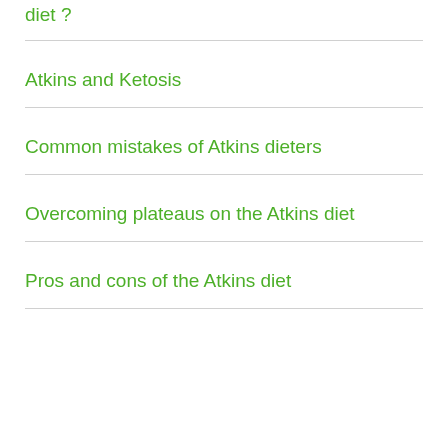diet ?
Atkins and Ketosis
Common mistakes of Atkins dieters
Overcoming plateaus on the Atkins diet
Pros and cons of the Atkins diet